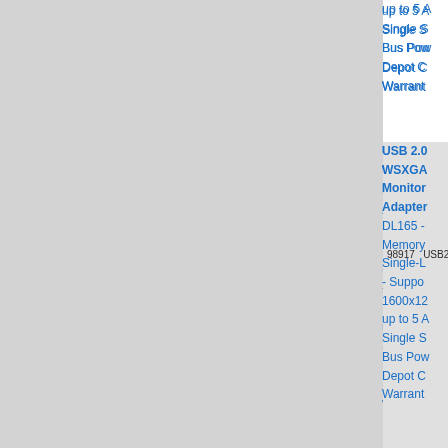up to 5 A
Single S
Bus Pow
Depot C
Warrant
[Figure (photo): Product image placeholder for item 98917 USB2DVI]
98917    USB2DVI
USB 2.0 WSXGA Monitor Adapter DL165 - Memory Single-L - Suppo 1600x12 up to 5 A Single S Bus Pow Depot C Warrant
Slim US Monitor Trigger 5 USB 3.0 Ports - S 1920x12 Audio - Adapter System Powere Carry-In
[Figure (photo): Product image placeholder for item 112640 USB32HDES]
112640  USB32HDES
USB 2.0